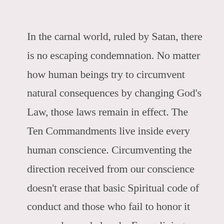In the carnal world, ruled by Satan, there is no escaping condemnation. No matter how human beings try to circumvent natural consequences by changing God's Law, those laws remain in effect. The Ten Commandments live inside every human conscience. Circumventing the direction received from our conscience doesn't erase that basic Spiritual code of conduct and those who fail to honor it are condemned already. Every living soul, when measured against the letter of that Law, is bound over and sentenced to misery and